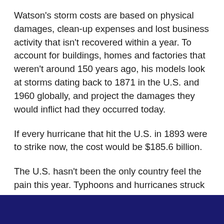Watson's storm costs are based on physical damages, clean-up expenses and lost business activity that isn't recovered within a year. To account for buildings, homes and factories that weren't around 150 years ago, his models look at storms dating back to 1871 in the U.S. and 1960 globally, and project the damages they would inflict had they occurred today.
If every hurricane that hit the U.S. in 1893 were to strike now, the cost would be $185.6 billion.
The U.S. hasn't been the only country feel the pain this year. Typhoons and hurricanes struck countries including China and Japan. Watson